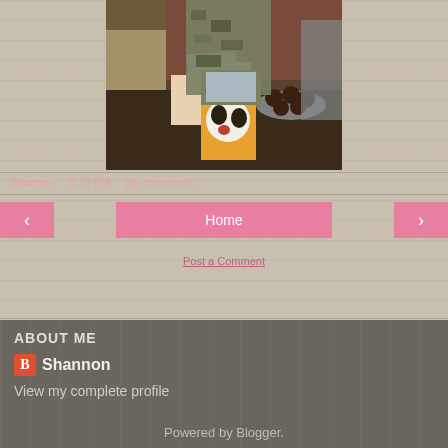[Figure (photo): A person in military camouflage uniform standing at a table with greeting cards, food items including chocolate truffles on a plate, and a small decorative card with a dog face visible. Indoor setting with wooden furniture.]
Shannon   5:23 PM   No comments:
[Figure (infographic): Navigation bar with pink left arrow button, pink Home button in center, and pink right arrow button]
Post a Comment
ABOUT ME
Shannon
View my complete profile
Powered by Blogger.